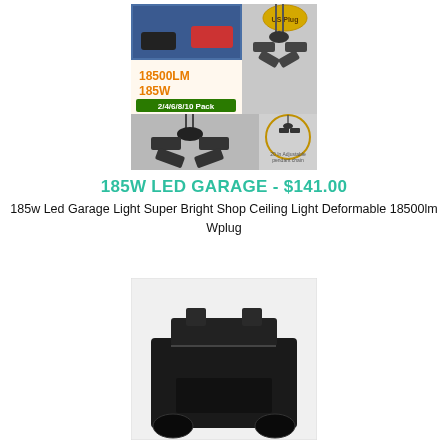[Figure (photo): Product image of 185W LED garage light with multiple adjustable panels hanging from ceiling, showing 18500LM 185W label and 2/4/6/8/10 Pack text, with US plug badge]
185W LED GARAGE - $141.00
185w Led Garage Light Super Bright Shop Ceiling Light Deformable 18500lm Wplug
[Figure (photo): Product image of a black vehicle or automotive accessory, partially visible, with dark background]